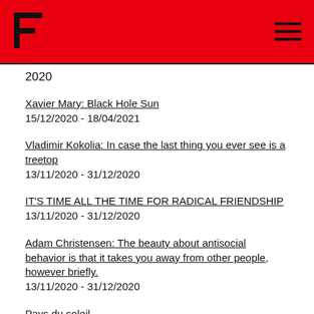F logo / navigation header
2020
Xavier Mary: Black Hole Sun
15/12/2020 - 18/04/2021
Vladimir Kokolia: In case the last thing you ever see is a treetop
13/11/2020 - 31/12/2020
IT'S TIME ALL THE TIME FOR RADICAL FRIENDSHIP
13/11/2020 - 31/12/2020
Adam Christensen: The beauty about antisocial behavior is that it takes you away from other people, however briefly.
13/11/2020 - 31/12/2020
Pays du soleil
11/08/2020 - 27/09/2020
The Cave & The Garden